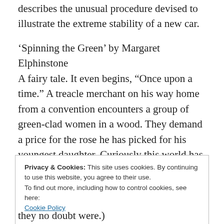describes the unusual procedure devised to illustrate the extreme stability of a new car.
'Spinning the Green' by Margaret Elphinstone A fairy tale. It even begins, “Once upon a time.” A treacle merchant on his way home from a convention encounters a group of green-clad women in a wood. They demand a price for the rose he has picked for his youngest daughter. Curiously this world has computers, televisions and round the world cruises but the merchant travels on horseback.
Privacy & Cookies: This site uses cookies. By continuing to use this website, you agree to their use.
To find out more, including how to control cookies, see here:
Cookie Policy

Close and accept
they no doubt were.)